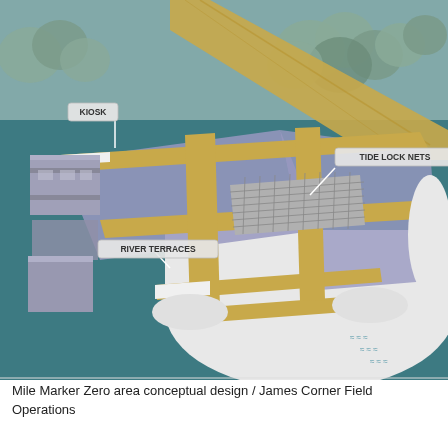[Figure (illustration): Isometric conceptual design rendering of the Mile Marker Zero area by James Corner Field Operations. Shows a pier-like structure extending into teal-colored water. Features labeled elements: KIOSK (upper left, small structure with annotation callout), TIDE LOCK NETS (center, grid/net patterned section with callout), and RIVER TERRACES (lower left, tiered deck areas with callout). The structure includes golden/tan colored walkways, light purple/lavender platform areas, white structural elements, and rounded semicircular ends. Trees and greenery are visible in the upper portion. Small wave markers are shown in the water at lower right.]
Mile Marker Zero area conceptual design / James Corner Field Operations